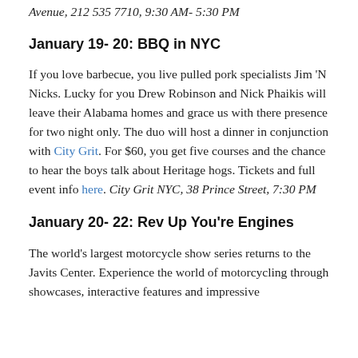Avenue, 212 535 7710, 9:30 AM- 5:30 PM
January 19- 20: BBQ in NYC
If you love barbecue, you live pulled pork specialists Jim 'N Nicks. Lucky for you Drew Robinson and Nick Phaikis will leave their Alabama homes and grace us with there presence for two night only. The duo will host a dinner in conjunction with City Grit. For $60, you get five courses and the chance to hear the boys talk about Heritage hogs. Tickets and full event info here. City Grit NYC, 38 Prince Street, 7:30 PM
January 20- 22: Rev Up You're Engines
The world's largest motorcycle show series returns to the Javits Center. Experience the world of motorcycling through showcases, interactive features and impressive